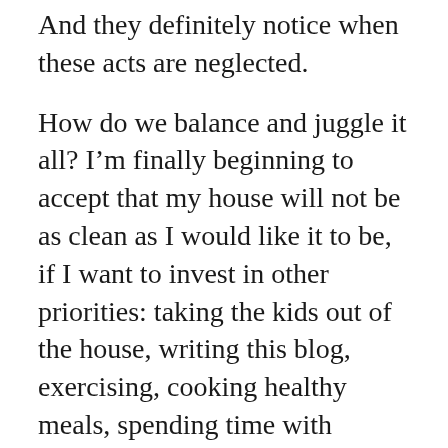And they definitely notice when these acts are neglected.
How do we balance and juggle it all? I’m finally beginning to accept that my house will not be as clean as I would like it to be, if I want to invest in other priorities: taking the kids out of the house, writing this blog, exercising, cooking healthy meals, spending time with friends. We can’t have it all, and we need to establish what demands priority over something else. I take care of as much as I can during the day, but I reserve the evening for anything that really involves investment or brain power.
I have a hard time focusing on paperwork when the girls are fighting, crying, playing, laughing, which is